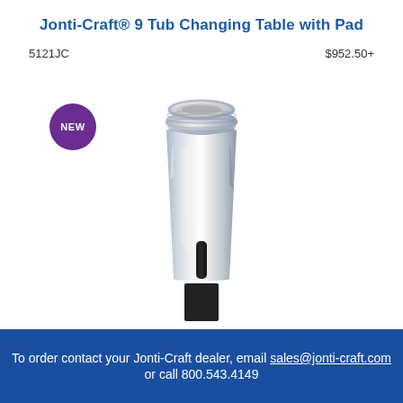Jonti-Craft® 9 Tub Changing Table with Pad
5121JC
$952.50+
[Figure (photo): Close-up photo of a chrome/silver plated cylindrical product component (appears to be a leg or support post with threaded top and a vertical slot at the bottom) on a white background. A purple 'NEW' badge is overlaid in the upper-left area of the image.]
To order contact your Jonti-Craft dealer, email sales@jonti-craft.com or call 800.543.4149